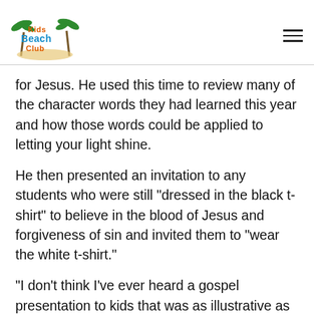[Figure (logo): Kids Beach Club logo with palm trees and stylized text]
for Jesus. He used this time to review many of the character words they had learned this year and how those words could be applied to letting your light shine.
He then presented an invitation to any students who were still "dressed in the black t-shirt" to believe in the blood of Jesus and forgiveness of sin and invited them to "wear the white t-shirt."
“I don’t think I’ve ever heard a gospel presentation to kids that was as illustrative as this,” said Vickie Sneed, the KBC club relations